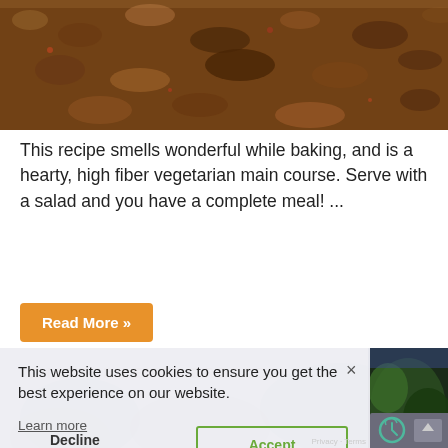[Figure (photo): Close-up photo of a textured grain or nut-based baked dish, brown and earthy tones]
This recipe smells wonderful while baking, and is a hearty, high fiber vegetarian main course. Serve with a salad and you have a complete meal! ...
Read More »
CHARRED LEMON BROCCOLI
This website uses cookies to ensure you get the best experience on our website.
Learn more
Decline
Accept
[Figure (photo): Partial food photo showing broccoli dish, right side of page]
Privacy · Terms